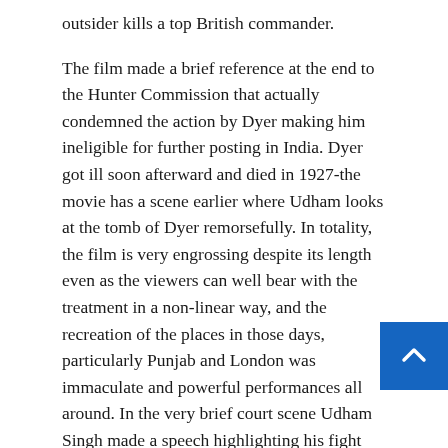outsider kills a top British commander.
The film made a brief reference at the end to the Hunter Commission that actually condemned the action by Dyer making him ineligible for further posting in India. Dyer got ill soon afterward and died in 1927-the movie has a scene earlier where Udham looks at the tomb of Dyer remorsefully. In totality, the film is very engrossing despite its length even as the viewers can well bear with the treatment in a non-linear way, and the recreation of the places in those days, particularly Punjab and London was immaculate and powerful performances all around. In the very brief court scene Udham Singh made a speech highlighting his fight against an unjust imperialistic domination of his country and his fight, as per the idea Bhagat Singh, is hate-free, not aimed at any community or caste or religion including the British people-he is only a